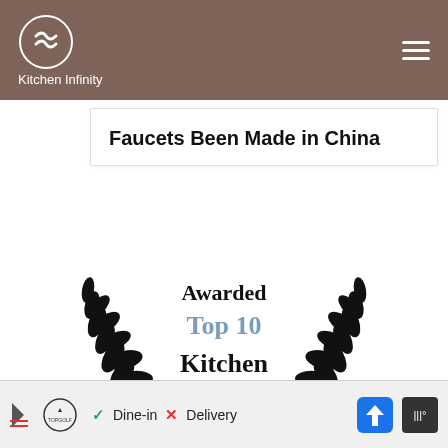Kitchen Infinity
Faucets Been Made in China
[Figure (illustration): Award badge with laurel branches on either side and text reading 'Awarded Top 10 Kitchen Renovation']
Ad: Topgolf — Dine-in · Delivery